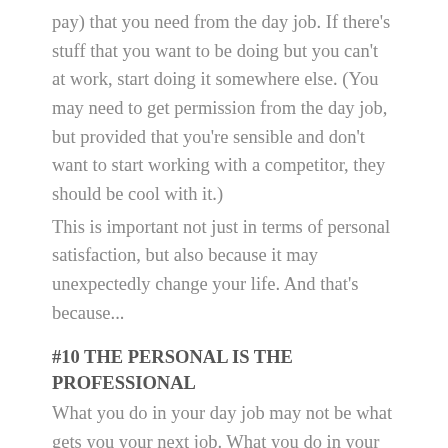pay) that you need from the day job. If there's stuff that you want to be doing but you can't at work, start doing it somewhere else. (You may need to get permission from the day job, but provided that you're sensible and don't want to start working with a competitor, they should be cool with it.)
This is important not just in terms of personal satisfaction, but also because it may unexpectedly change your life. And that's because...
#10 THE PERSONAL IS THE PROFESSIONAL
What you do in your day job may not be what gets you your next job. What you do in your supposedly spare time may turn out to be far more important.
When you got your first job in publishing, it most likely